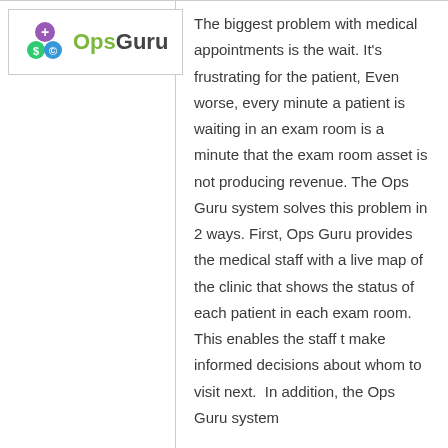[Figure (logo): OpsGuru logo with colored circle icon and 'OpsGuru' text in gray and green]
The biggest problem with medical appointments is the wait. It’s frustrating for the patient, Even worse, every minute a patient is waiting in an exam room is a minute that the exam room asset is not producing revenue. The Ops Guru system solves this problem in 2 ways. First, Ops Guru provides the medical staff with a live map of the clinic that shows the status of each patient in each exam room. This enables the staff t make informed decisions about whom to visit next.  In addition, the Ops Guru system